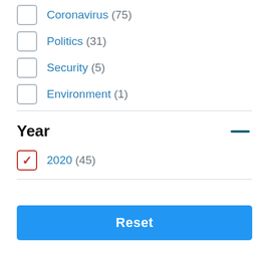Coronavirus (75)
Politics (31)
Security (5)
Environment (1)
Year
2020 (45)
Reset